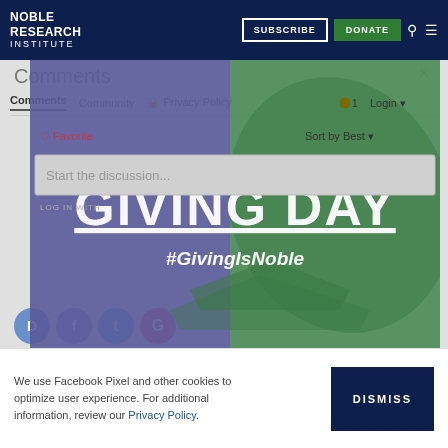NOBLE RESEARCH INSTITUTE | SUBSCRIBE | DONATE
Comments
[Figure (screenshot): Disqus comments panel with tabs for Comments, Community, and Privacy Policy, overlaid by a Noble Giving Day promotional graphic showing 'GIVING DAY' in large white bold text with '#GivingIsNoble' hashtag on a green and purple background with a leaf shape. Below shows Login, Sort by Best, Favorite, and a discussion input box with social login icons (D, Facebook, Twitter, Google).]
September 19th is Noble Giving Day!
We use Facebook Pixel and other cookies to optimize user experience. For additional information, review our Privacy Policy.
DISMISS